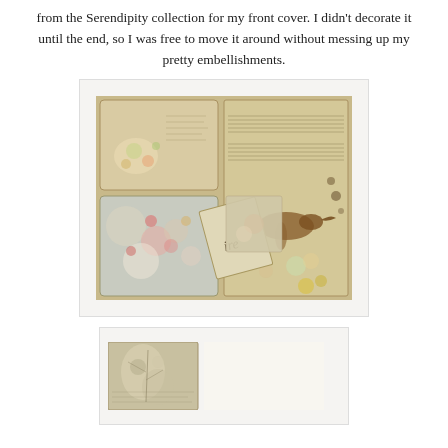from the Serendipity collection for my front cover. I didn't decorate it until the end, so I was free to move it around without messing up my pretty embellishments.
[Figure (photo): A decorative collage art piece featuring layered paper panels with floral designs, vintage music sheet backgrounds, a bird illustration, and cursive text. The pieces are arranged in a book-like spread format with aged, textured appearance.]
[Figure (photo): A partially visible photo showing a smaller decorative panel with floral and botanical illustrations on an aged paper background, alongside a plain white/cream panel.]